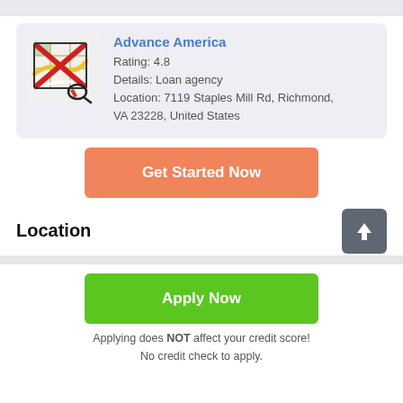[Figure (infographic): Card with map icon (crossed out with red X), showing Advance America business listing with rating 4.8, details Loan agency, location 7119 Staples Mill Rd Richmond VA 23228 United States]
Get Started Now
Location
Apply Now
Applying does NOT affect your credit score! No credit check to apply.